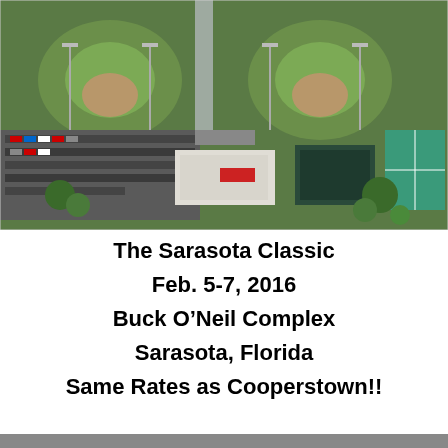[Figure (photo): Aerial view of Buck O'Neil Complex in Sarasota, Florida, showing baseball fields, parking lots, and buildings from above.]
The Sarasota Classic
Feb. 5-7, 2016
Buck O'Neil Complex
Sarasota, Florida
Same Rates as Cooperstown!!